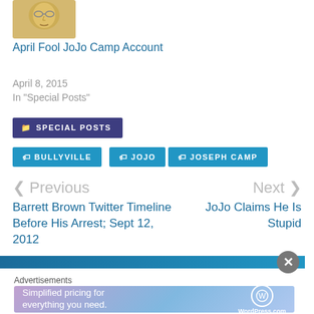[Figure (photo): Thumbnail image of a face with a golden/yellow tone]
April Fool JoJo Camp Account
April 8, 2015
In "Special Posts"
SPECIAL POSTS
BULLYVILLE
JOJO
JOSEPH CAMP
< Previous
Next >
Barrett Brown Twitter Timeline Before His Arrest; Sept 12, 2012
JoJo Claims He Is Stupid
[Figure (other): Blue gradient banner bar]
Advertisements
[Figure (other): WordPress.com advertisement banner: Simplified pricing for everything you need.]